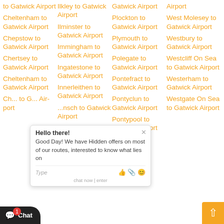to Gatwick Airport
Cheltenham to Gatwick Airport
Chepstow to Gatwick Airport
Chertsey to Gatwick Airport
Che... to Gatwick Airport
Ch... to G... Airport
Ilkley to Gatwick Airport
Ilminster to Gatwick Airport
Immingham to Gatwick Airport
Ingatestone to Gatwick Airport
Innerleithen to Gatwick Airport
...nsch to Gatwick Airport
Gatwick Airport
Plockton to Gatwick Airport
Plymouth to Gatwick Airport
Polegate to Gatwick Airport
Pontefract to Gatwick Airport
Pontyclun to Gatwick Airport
Pontypoo to Gatwick Airport
Airport
West Molesey to Gatwick Airport
Westbury to Gatwick Airport
Westcliff On Sea to Gatwick Airport
Westerham to Gatwick Airport
Westgate On Sea to Gatwick Airport